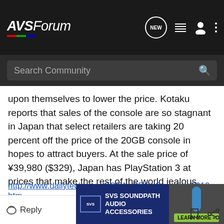AVS FORUM — Search Community
upon themselves to lower the price. Kotaku reports that sales of the console are so stagnant in Japan that select retailers are taking 20 percent off the price of the 20GB console in hopes to attract buyers. At the sale price of ¥39,980 ($329), Japan has PlayStation 3 at prices that make the rest of the world jealous.
http://www.dailytech.com/SCEA+CEO+Sa...rticle5810.htm
77 & 55 LG C9
NZXT H700 (BLACK - RED) CASE ASUS ROG MAXIMUS XI
[Figure (screenshot): SVS SoundPath Audio Accessories advertisement banner with Learn More button]